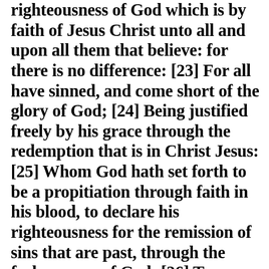righteousness of God which is by faith of Jesus Christ unto all and upon all them that believe: for there is no difference: [23] For all have sinned, and come short of the glory of God; [24] Being justified freely by his grace through the redemption that is in Christ Jesus: [25] Whom God hath set forth to be a propitiation through faith in his blood, to declare his righteousness for the remission of sins that are past, through the forbearance of God; [26] To declare, I say, at this time his righteousness, that he might be